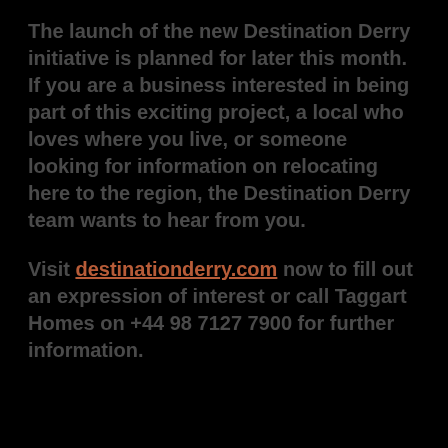The launch of the new Destination Derry initiative is planned for later this month. If you are a business interested in being part of this exciting project, a local who loves where you live, or someone looking for information on relocating here to the region, the Destination Derry team wants to hear from you.
Visit destinationderry.com now to fill out an expression of interest or call Taggart Homes on +44 98 7127 7900 for further information.